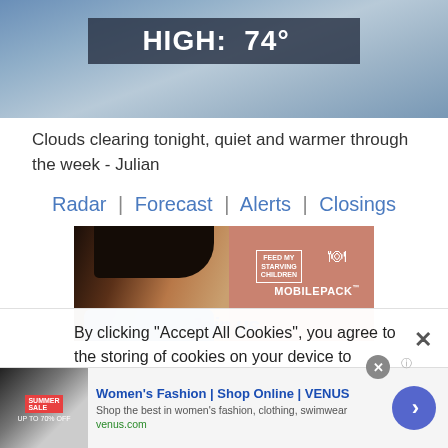[Figure (screenshot): Weather image showing cloudy sky with HIGH: 74° banner]
Clouds clearing tonight, quiet and warmer through the week - Julian
Radar | Forecast | Alerts | Closings
[Figure (photo): Feed My Starving Children MobilePack advertisement with child's photo]
By clicking "Accept All Cookies", you agree to the storing of cookies on your device to enhance site navigation, analyze site usage, and assist in our marketing efforts.
[Figure (screenshot): Women's Fashion | Shop Online | VENUS advertisement banner]